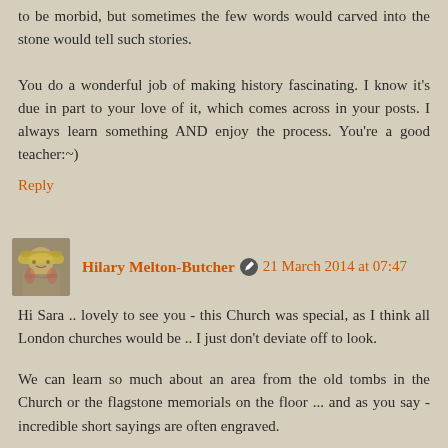to be morbid, but sometimes the few words would carved into the stone would tell such stories.
You do a wonderful job of making history fascinating. I know it's due in part to your love of it, which comes across in your posts. I always learn something AND enjoy the process. You're a good teacher:~)
Reply
Hilary Melton-Butcher  21 March 2014 at 07:47
Hi Sara .. lovely to see you - this Church was special, as I think all London churches would be .. I just don't deviate off to look.
We can learn so much about an area from the old tombs in the Church or the flagstone memorials on the floor ... and as you say - incredible short sayings are often engraved.
Just glad I'm able to bring some history to light for a few interested parties .. it's a puzzle, but once it starts slotting